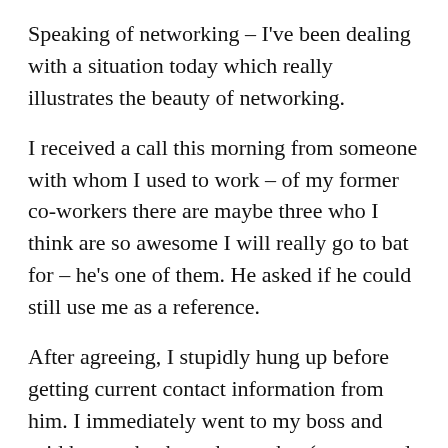Speaking of networking – I've been dealing with a situation today which really illustrates the beauty of networking.
I received a call this morning from someone with whom I used to work – of my former co-workers there are maybe three who I think are so awesome I will really go to bat for – he's one of them. He asked if he could still use me as a reference.
After agreeing, I stupidly hung up before getting current contact information from him. I immediately went to my boss and said he was back on the market (we wanted to hire him a couple of years ago when our mutual company was closing, but he was snatched up before we could get him in for an interview (the perils of foot dragging in hiring)).
I then spent the morning trying to contact him with the old contact info, the owner of the company was helping me search the web for a way to get in touch with him, all the